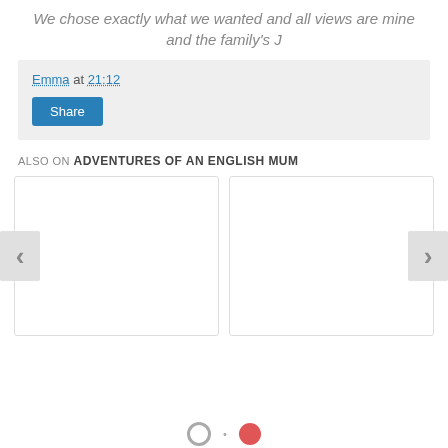We chose exactly what we wanted and all views are mine and the family's J
Emma at 21:12
Share
ALSO ON ADVENTURES OF AN ENGLISH MUM
[Figure (other): Two blank card placeholders with left and right navigation arrows]